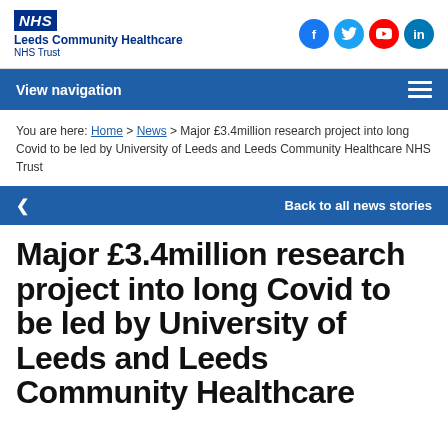[Figure (logo): NHS Leeds Community Healthcare NHS Trust logo with NHS blue box and organisation name]
[Figure (illustration): Social media icons: Facebook, Twitter, YouTube, LinkedIn]
View navigation
You are here: Home > News > Major £3.4million research project into long Covid to be led by University of Leeds and Leeds Community Healthcare NHS Trust
Back to all news stories
Major £3.4million research project into long Covid to be led by University of Leeds and Leeds Community Healthcare